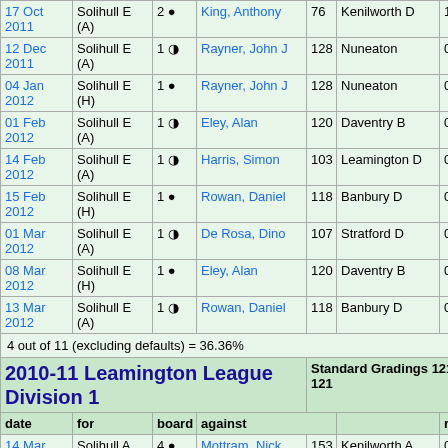| date | for | board | against |  | result |
| --- | --- | --- | --- | --- | --- |
| 17 Oct 2011 | Solihull E (A) | 2 ● | King, Anthony | 76 | Kenilworth D | 1 |
| 12 Dec 2011 | Solihull E (A) | 1 ◑ | Rayner, John J | 128 | Nuneaton | 0.5 |
| 04 Jan 2012 | Solihull E (H) | 1 ● | Rayner, John J | 128 | Nuneaton | 0 |
| 01 Feb 2012 | Solihull E (A) | 1 ◑ | Eley, Alan | 120 | Daventry B | 0.5 |
| 14 Feb 2012 | Solihull E (A) | 1 ◑ | Harris, Simon | 103 | Leamington D | 0.5 |
| 15 Feb 2012 | Solihull E (H) | 1 ● | Rowan, Daniel | 118 | Banbury D | 0 |
| 01 Mar 2012 | Solihull E (A) | 1 ◑ | De Rosa, Dino | 107 | Stratford D | 0 |
| 08 Mar 2012 | Solihull E (H) | 1 ● | Eley, Alan | 120 | Daventry B | 0 |
| 13 Mar 2012 | Solihull E (A) | 1 ◑ | Rowan, Daniel | 118 | Banbury D | 0.5 |
4 out of 11 (excluding defaults) = 36.36%
2010-11 Leamington League Division 1
Standard Gradings 121, 121
| date | for | board | against |  | result |
| --- | --- | --- | --- | --- | --- |
| 14 Mar | Solihull A | 4 ● | Mottram, Nick | 153 | Kenilworth A | 0 |